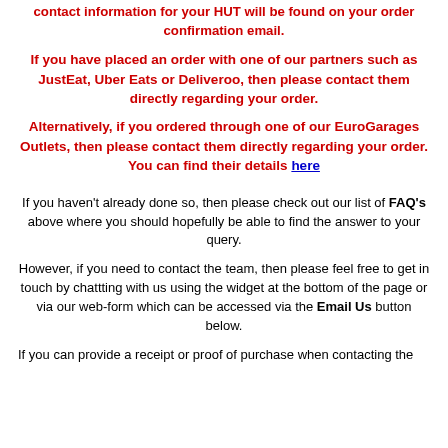contact information for your HUT will be found on your order confirmation email.
If you have placed an order with one of our partners such as JustEat, Uber Eats or Deliveroo, then please contact them directly regarding your order.
Alternatively, if you ordered through one of our EuroGarages Outlets, then please contact them directly regarding your order. You can find their details here
If you haven't already done so, then please check out our list of FAQ's above where you should hopefully be able to find the answer to your query.
However, if you need to contact the team, then please feel free to get in touch by chattting with us using the widget at the bottom of the page or via our web-form which can be accessed via the Email Us button below.
If you can provide a receipt or proof of purchase when contacting the